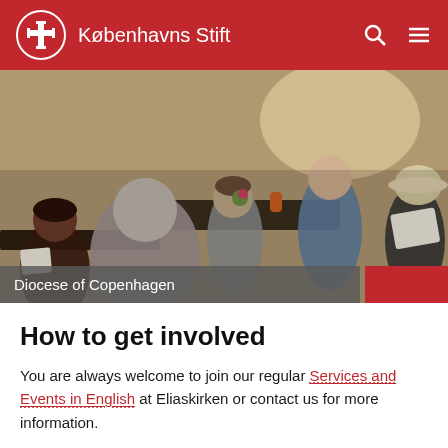Københavns Stift
[Figure (photo): Group of people sitting around outdoor tables, some reading, some talking; a community gathering scene.]
Diocese of Copenhagen
How to get involved
You are always welcome to join our regular Services and Events in English at Eliaskirken or contact us for more information.
You can also follow us on Facebook and Instagram.
If you have thoughts, ideas, or would like to join the conversation